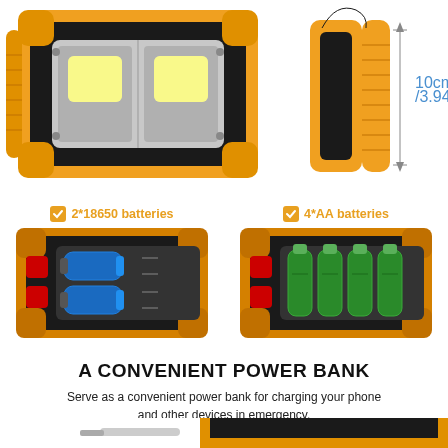[Figure (photo): Top view of an orange/black LED work light showing two COB LED panels, with a side view showing 10cm/3.94in dimension arrow]
[Figure (photo): Two battery compartment views: left shows 2*18650 batteries (blue cylindrical cells), right shows 4*AA batteries (green cells), both with orange checkbox labels]
A CONVENIENT POWER BANK
Serve as a convenient power bank for charging your phone and other devices in emergency.
[Figure (photo): Partial bottom image showing the orange/black work light lying on its side with a USB charging cable]